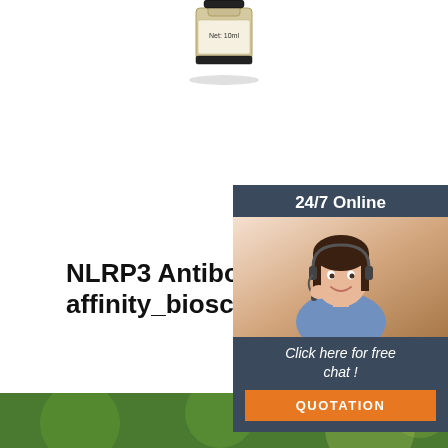[Figure (photo): Product bottle with label showing Net: 10ml, partial view of bottom of bottle]
NLRP3 Antibody - DF7438 - affinity_biosciences
Synthetic peptide was lyophilized with 100% ace supplied as a powder. Reconstitute with 0.1 ml D final concentration of 10 mg/ml.The purity is >90 HPLC and MS.Storage Maintain refrigerated at 2 6 months. For long term storage store at -20°C. This product is for research use only.
[Figure (photo): Customer service representative with headset, 24/7 Online chat widget with QUOTATION button]
[Figure (other): Get Price green button]
[Figure (photo): Green blurred background image at bottom of page]